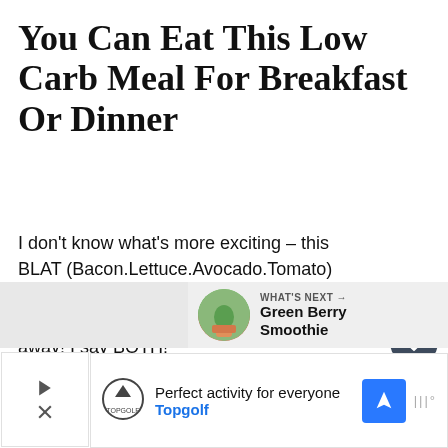You Can Eat This Low Carb Meal For Breakfast Or Dinner
I don't know what's more exciting – this BLAT (Bacon.Lettuce.Avocado.Tomato) Omelette Wrap that you're about to inhale, or the $100.00 Giftcard that I am giving away! I say BOTH!
Imagine how glorious your day would be if it started w… eggs, bacon, and avocado. Just imagine.
[Figure (screenshot): UI widget: heart/like button (dark circle with heart icon) and share button (circle with share icon), with 4.4K count label]
[Figure (screenshot): What's Next bar showing thumbnail of green berry smoothie with label 'WHAT'S NEXT → Green Berry Smoothie']
[Figure (screenshot): Advertisement banner: Topgolf ad with text 'Perfect activity for everyone' and blue navigation arrow icon]